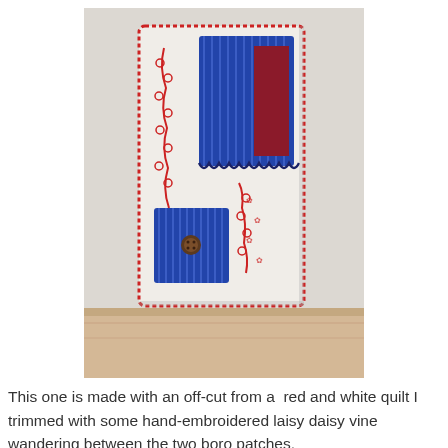[Figure (photo): A handmade fabric book cover or wallet made from a red and white quilt off-cut, decorated with hand-embroidered red laisy daisy vine stitching and two blue boro patches (one large rectangular patch at the top and one smaller square patch at the bottom left with a button closure). The item stands upright on a wooden surface. The fabric is white with red printed designs, and the boro patches are dark blue/indigo with white stripe patterns.]
This one is made with an off-cut from a  red and white quilt I trimmed with some hand-embroidered laisy daisy vine wandering between the two boro patches.